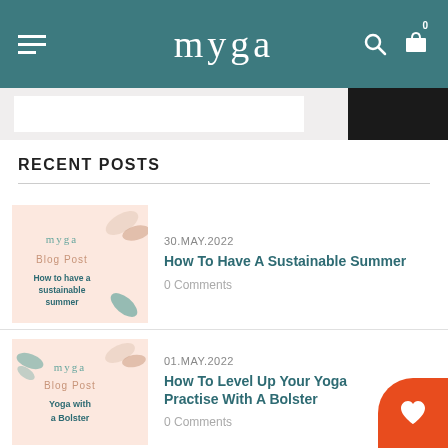myga
RECENT POSTS
[Figure (illustration): Blog post thumbnail with pink background, leaf decorations, myga logo, 'Blog Post' label, and text 'How to have a sustainable summer']
30.MAY.2022
How To Have A Sustainable Summer
0 Comments
[Figure (illustration): Blog post thumbnail with pink background, leaf decorations, myga logo, 'Blog Post' label, and text 'Yoga with a Bolster']
01.MAY.2022
How To Level Up Your Yoga Practise With A Bolster
0 Comments